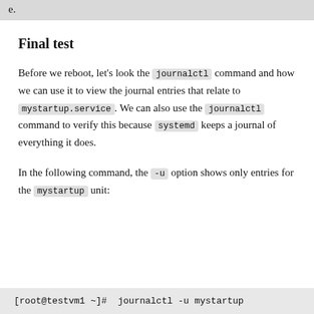e.
Final test
Before we reboot, let's look the journalctl command and how we can use it to view the journal entries that relate to mystartup.service. We can also use the journalctl command to verify this because systemd keeps a journal of everything it does.
In the following command, the -u option shows only entries for the mystartup unit:
[root@testvm1 ~]# journalctl -u mystartup